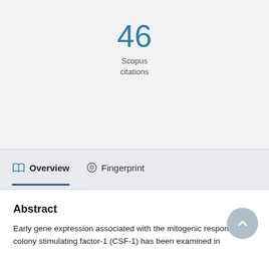46
Scopus citations
Overview
Fingerprint
Abstract
Early gene expression associated with the mitogenic response to colony stimulating factor-1 (CSF-1) has been examined in